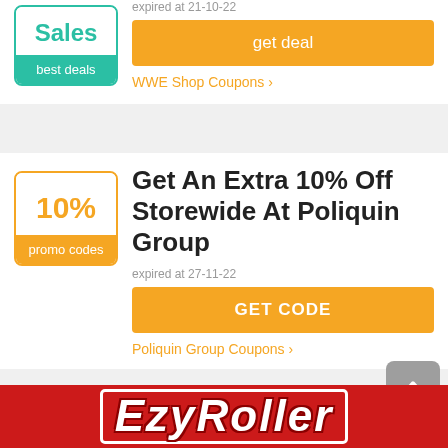[Figure (logo): Sales best deals badge with teal colors]
Exclusive Savings
expired at 21-10-22
get deal
WWE Shop Coupons >
[Figure (logo): 10% promo codes badge with orange border]
Get An Extra 10% Off Storewide At Poliquin Group
expired at 27-11-22
GET CODE
Poliquin Group Coupons >
[Figure (logo): EzyRoller red banner logo with stylized italic text]